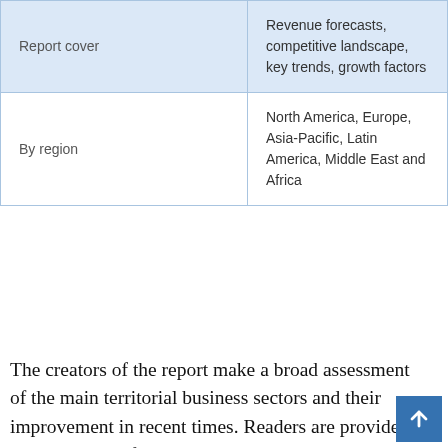| Report cover | Revenue forecasts, competitive landscape, key trends, growth factors |
| By region | North America, Europe, Asia-Pacific, Latin America, Middle East and Africa |
The creators of the report make a broad assessment of the main territorial business sectors and their improvement in recent times. Readers are provided with exact raw figures on the Web Hosting Services market and its important factors such as usage, creation, revenue trend and CAGR. The report additionally shares gross advantage, overall industry part, engaging quality list, and value and volume development for all the fragments concentrated by investigators. It presents the key events, item portfolio, showcases which are